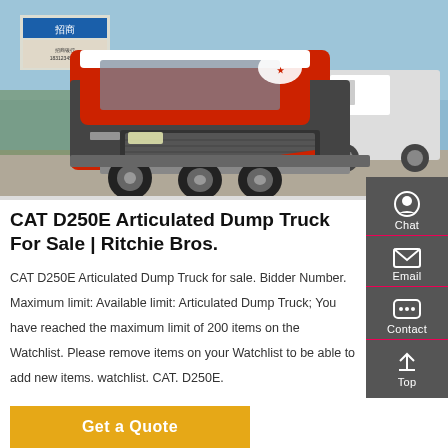[Figure (photo): Red and white heavy-duty articulated dump truck / tractor cab photographed in a yard with other white trucks in the background and Chinese signage visible on a billboard.]
CAT D250E Articulated Dump Truck For Sale | Ritchie Bros.
CAT D250E Articulated Dump Truck for sale. Bidder Number. Maximum limit: Available limit: Articulated Dump Truck; You have reached the maximum limit of 200 items on the Watchlist. Please remove items on your Watchlist to be able to add new items. watchlist. CAT. D250E.
Get a Quote